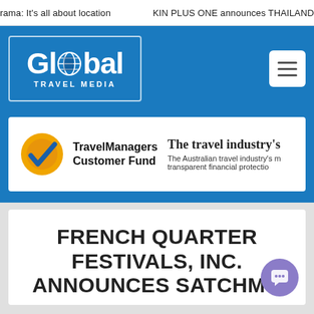rama: It's all about location   KIN PLUS ONE announces THAILAND
[Figure (logo): Global Travel Media logo — white text on blue background with globe icon and border]
[Figure (logo): TravelManagers Customer Fund banner ad with checkmark logo and tagline: The travel industry's — The Australian travel industry's most transparent financial protection]
FRENCH QUARTER FESTIVALS, INC. ANNOUNCES SATCHMO